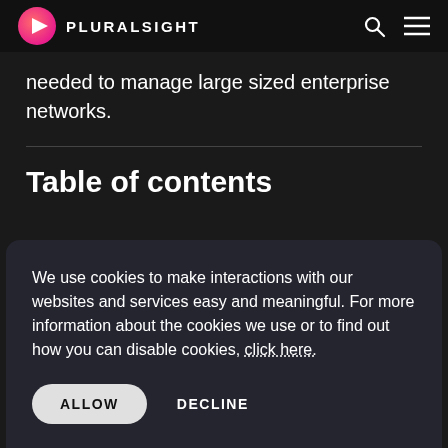PLURALSIGHT
needed to manage large sized enterprise networks.
Table of contents
We use cookies to make interactions with our websites and services easy and meaningful. For more information about the cookies we use or to find out how you can disable cookies, click here.